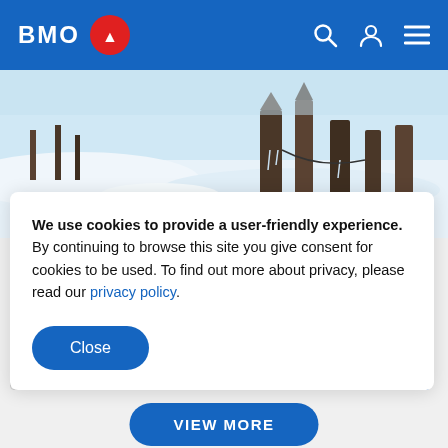BMO
[Figure (photo): Winter scene with snow-covered dock pilings and icy wooden structures under a bright sky]
We use cookies to provide a user-friendly experience. By continuing to browse this site you give consent for cookies to be used. To find out more about privacy, please read our privacy policy.
Close
VIEW MORE